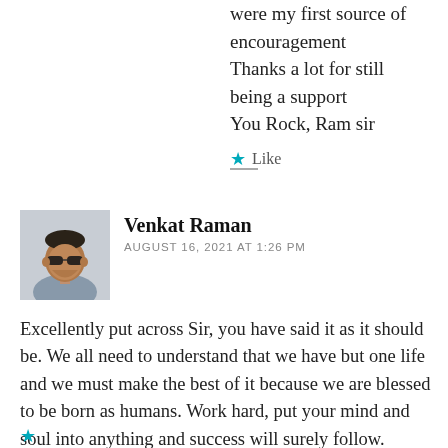were my first source of encouragement
Thanks a lot for still being a support
You Rock, Ram sir
★ Like
[Figure (photo): Profile photo of Venkat Raman, an older man wearing sunglasses]
Venkat Raman
AUGUST 16, 2021 AT 1:26 PM
Excellently put across Sir, you have said it as it should be. We all need to understand that we have but one life and we must make the best of it because we are blessed to be born as humans. Work hard, put your mind and soul into anything and success will surely follow. Thanks a lot for this wonderful blog